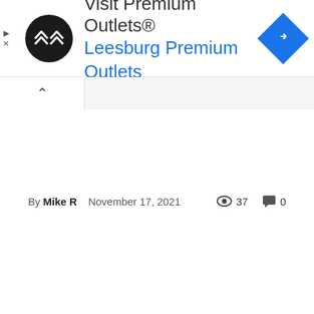[Figure (screenshot): Advertisement banner for Premium Outlets showing logo, text 'Visit Premium Outlets® Leesburg Premium Outlets', and navigation icon]
By Mike R   November 17, 2021   👁 37  💬 0